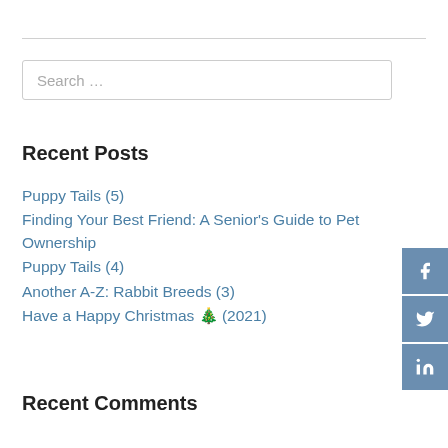Search …
Recent Posts
Puppy Tails (5)
Finding Your Best Friend: A Senior's Guide to Pet Ownership
Puppy Tails (4)
Another A-Z: Rabbit Breeds (3)
Have a Happy Christmas 🎄 (2021)
Recent Comments